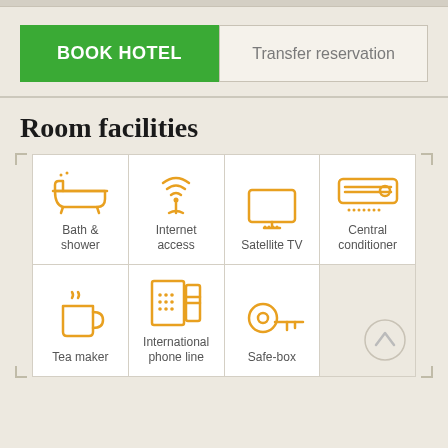[Figure (screenshot): Two navigation buttons: 'BOOK HOTEL' (green, bold) and 'Transfer reservation' (beige/outlined)]
Room facilities
[Figure (infographic): Grid of room facility icons: Bath & shower, Internet access, Satellite TV, Central conditioner (top row); Tea maker, International phone line, Safe-box (bottom row, 4th cell empty with scroll-up button)]